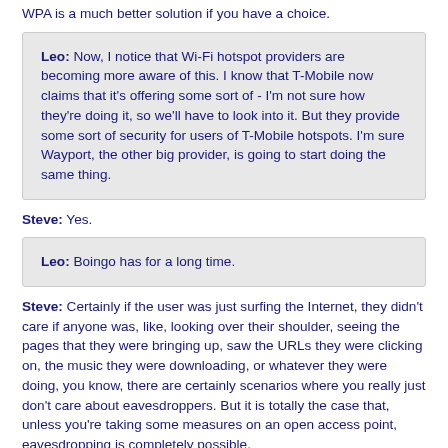WPA is a much better solution if you have a choice.
Leo: Now, I notice that Wi-Fi hotspot providers are becoming more aware of this. I know that T-Mobile now claims that it's offering some sort of - I'm not sure how they're doing it, so we'll have to look into it. But they provide some sort of security for users of T-Mobile hotspots. I'm sure Wayport, the other big provider, is going to start doing the same thing.
Steve: Yes.
Leo: Boingo has for a long time.
Steve: Certainly if the user was just surfing the Internet, they didn't care if anyone was, like, looking over their shoulder, seeing the pages that they were bringing up, saw the URLs they were clicking on, the music they were downloading, or whatever they were doing, you know, there are certainly scenarios where you really just don't care about eavesdroppers. But it is totally the case that, unless you're taking some measures on an open access point, eavesdropping is completely possible.
I'll mention one scenario for the home user that's useful because it's simple and free, and that is, if your access point is not part of your cable modem or your main router, but you've got a separate access point, like a freestanding little radio that you plug in to your router, if the the security support...